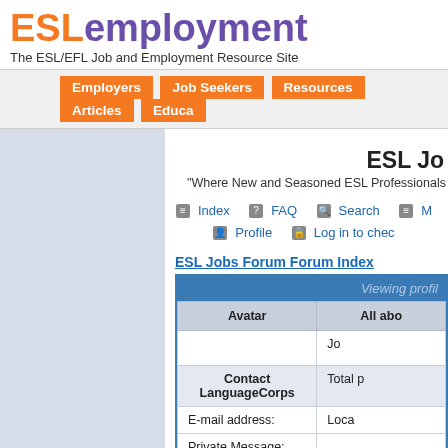ESLemployment
The ESL/EFL Job and Employment Resource Site
Employers | Job Seekers | Resources | Articles | Educa...
ESL Jo...
"Where New and Seasoned ESL Professionals...
Index  FAQ  Search  M...  Profile  Log in to chec...
ESL Jobs Forum Forum Index
| Viewing profil... |  |
| --- | --- |
| Avatar | All abo... |
|  | Jo... |
| Contact LanguageCorps | Total p... |
| E-mail address: | Loca... |
| Private Message: |  |